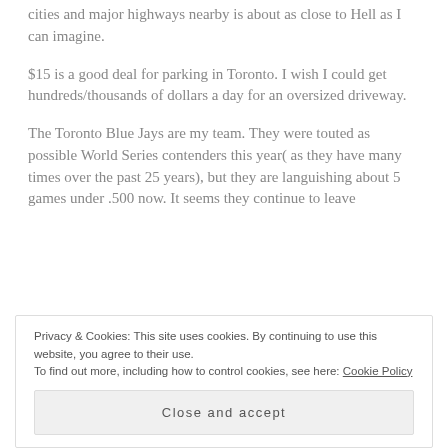cities and major highways nearby is about as close to Hell as I can imagine.
$15 is a good deal for parking in Toronto. I wish I could get hundreds/thousands of dollars a day for an oversized driveway.
The Toronto Blue Jays are my team. They were touted as possible World Series contenders this year( as they have many times over the past 25 years), but they are languishing about 5 games under .500 now. It seems they continue to leave
Privacy & Cookies: This site uses cookies. By continuing to use this website, you agree to their use.
To find out more, including how to control cookies, see here: Cookie Policy
Close and accept
replay challenge. The manager is allowed to